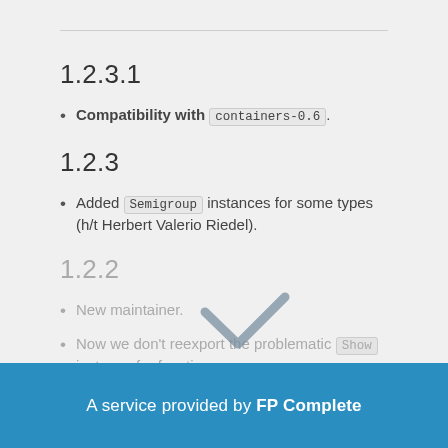1.2.3.1
Compatibility with containers-0.6.
1.2.3
Added Semigroup instances for some types (h/t Herbert Valerio Riedel).
1.2.2
New maintainer.
Now we don't reexport the problematic Show instance for functions.
A service provided by FP Complete